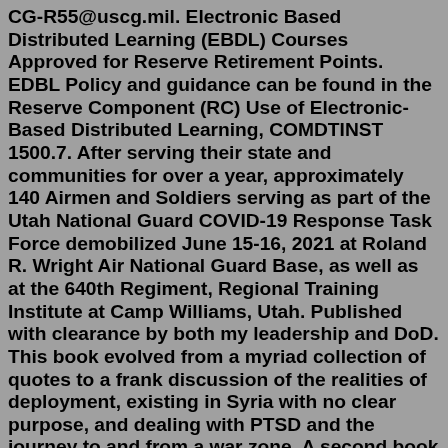CG-R55@uscg.mil. Electronic Based Distributed Learning (EBDL) Courses Approved for Reserve Retirement Points. EDBL Policy and guidance can be found in the Reserve Component (RC) Use of Electronic-Based Distributed Learning, COMDTINST 1500.7. After serving their state and communities for over a year, approximately 140 Airmen and Soldiers serving as part of the Utah National Guard COVID-19 Response Task Force demobilized June 15-16, 2021 at Roland R. Wright Air National Guard Base, as well as at the 640th Regiment, Regional Training Institute at Camp Williams, Utah. Published with clearance by both my leadership and DoD. This book evolved from a myriad collection of quotes to a frank discussion of the realities of deployment, existing in Syria with no clear purpose, and dealing with PTSD and the journey to and from a war zone. A second book is in the works, this time working to dispel the idea of “a ... Wednesday, March 23, 2022 - 12:00 am. BISMARCK, N.D. — A North Dakota Army National Guard unit...